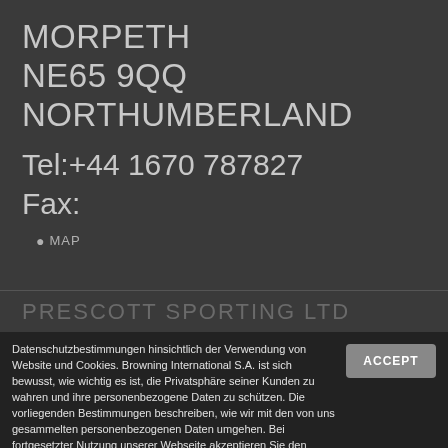MORPETH
NE65 9QQ
NORTHUMBERLAND
Tel:+44 1670 787827
Fax:
MAP
PRESCOTT SPORTING LTD
Datenschutzbestimmungen hinsichtlich der Verwendung von Website und Cookies. Browning International S.A. ist sich bewusst, wie wichtig es ist, die Privatsphäre seiner Kunden zu wahren und ihre personenbezogene Daten zu schützen. Die vorliegenden Bestimmungen beschreiben, wie wir mit den von uns gesammelten personenbezogenen Daten umgehen. Bei fortgesetzter Nutzung unserer Webseite akzeptieren Sie den Einsatz von Cookies zum Zwecke der Statistik und Personalisierung. Weiteres hierzu